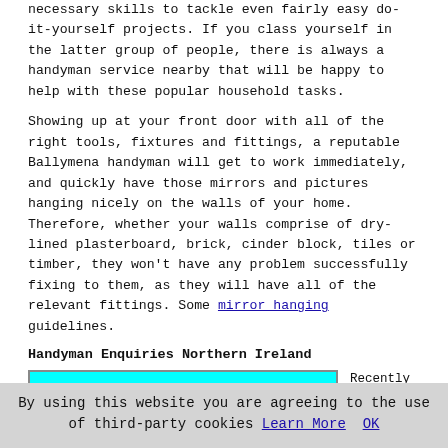necessary skills to tackle even fairly easy do-it-yourself projects. If you class yourself in the latter group of people, there is always a handyman service nearby that will be happy to help with these popular household tasks.
Showing up at your front door with all of the right tools, fixtures and fittings, a reputable Ballymena handyman will get to work immediately, and quickly have those mirrors and pictures hanging nicely on the walls of your home. Therefore, whether your walls comprise of dry-lined plasterboard, brick, cinder block, tiles or timber, they won't have any problem successfully fixing to them, as they will have all of the relevant fittings. Some mirror hanging guidelines.
Handyman Enquiries Northern Ireland
[Figure (illustration): Cyan/turquoise background image box showing the word 'Recent' in large bold blue text, with partial text below it, partially clipped.]
Recently posted Northern Ireland handyman job postings:
By using this website you are agreeing to the use of third-party cookies Learn More OK